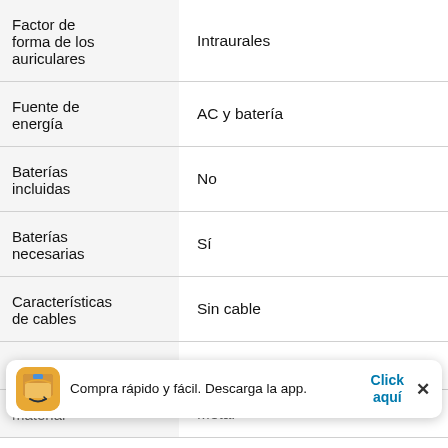| Atributo | Valor |
| --- | --- |
| Factor de forma de los auriculares | Intraurales |
| Fuente de energía | AC y batería |
| Baterías incluidas | No |
| Baterías necesarias | Sí |
| Características de cables | Sin cable |
| Tipo de | Inalámbrico |
| material | Metal |
Compra rápido y fácil. Descarga la app. Click aquí ×